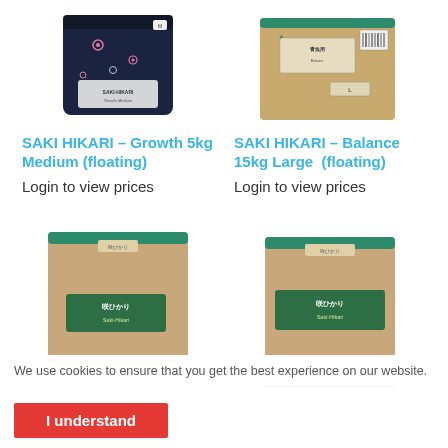[Figure (photo): SAKI HIKARI Growth 5kg Medium floating product bag - dark navy with pink flowers]
[Figure (photo): SAKI HIKARI Balance 15kg Large floating product bag - tan/kraft paper bag]
SAKI HIKARI – Growth 5kg Medium (floating)
SAKI HIKARI – Balance 15kg Large  (floating)
Login to view prices
Login to view prices
[Figure (photo): SAKI HIKARI Balance product bag - kraft paper bag with teal top seal]
[Figure (photo): SAKI HIKARI Balance product bag smaller - kraft paper bag with teal top seal]
We use cookies to ensure that you get the best experience on our website.
I understand
SAKI HIKARI – Balance
SAKI HIKARI – Balance